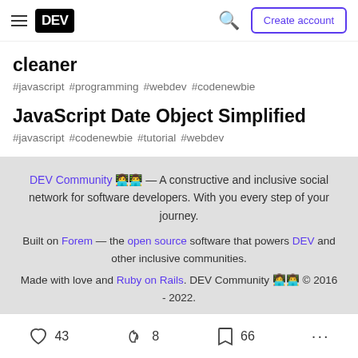DEV — Create account
cleaner
#javascript #programming #webdev #codenewbie
JavaScript Date Object Simplified
#javascript #codenewbie #tutorial #webdev
DEV Community 👩‍💻👨‍💻 — A constructive and inclusive social network for software developers. With you every step of your journey. Built on Forem — the open source software that powers DEV and other inclusive communities. Made with love and Ruby on Rails. DEV Community 👩‍💻👨‍💻 © 2016 - 2022.
43   8   66   ...